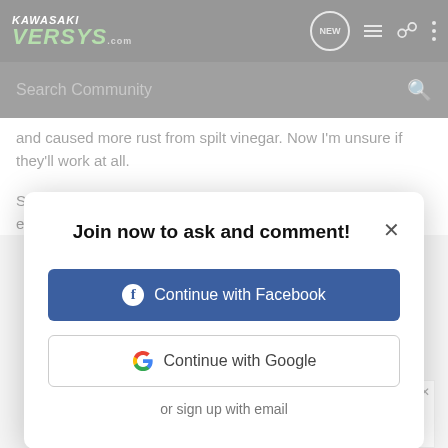KAWASAKI VERSYS.com — navigation header with NEW, list, user, and menu icons
Search Community
and caused more rust from spilt vinegar. Now I'm unsure if they'll work at all.
So while vinegar does great, make sure you remove everything b
Join now to ask and comment!
Continue with Facebook
Continue with Google
or sign up with email
[Figure (screenshot): Advertisement banner for robotic heart surgery featuring MedStar Health. Blue left panel text: 'Robotic heart surgery. Now available near you.' Yellow learn more button. MedStar Health logo on right.]